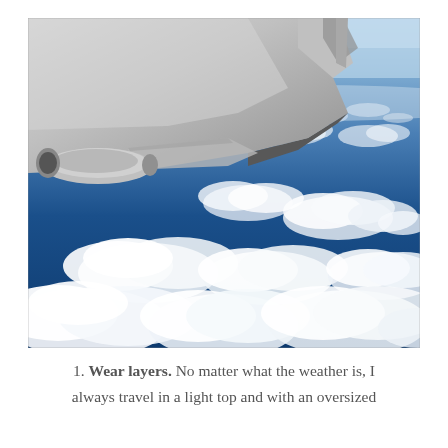[Figure (photo): View from an airplane window showing the aircraft wing on the left and a vast expanse of blue sky with scattered white cumulus clouds below, viewed from high altitude.]
1. Wear layers. No matter what the weather is, I always travel in a light top and with an oversized